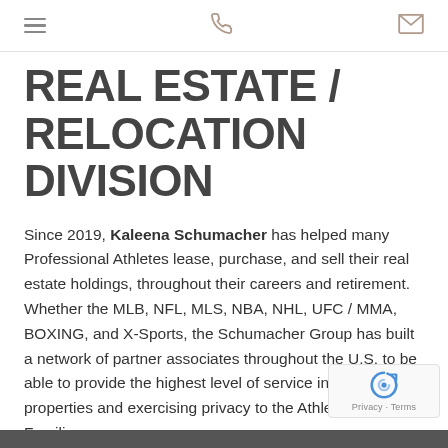[hamburger menu icon] [phone icon] [envelope icon]
REAL ESTATE / RELOCATION DIVISION
Since 2019, Kaleena Schumacher has helped many Professional Athletes lease, purchase, and sell their real estate holdings, throughout their careers and retirement. Whether the MLB, NFL, MLS, NBA, NHL, UFC / MMA, BOXING, and X-Sports, the Schumacher Group has built a network of partner associates throughout the U.S. to be able to provide the highest level of service in locating properties and exercising privacy to the Athlete and their Families.